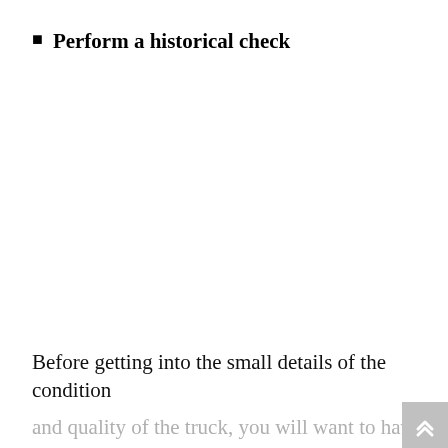Perform a historical check
Before getting into the small details of the condition and quality of the truck, you will want to have a background of the truck.